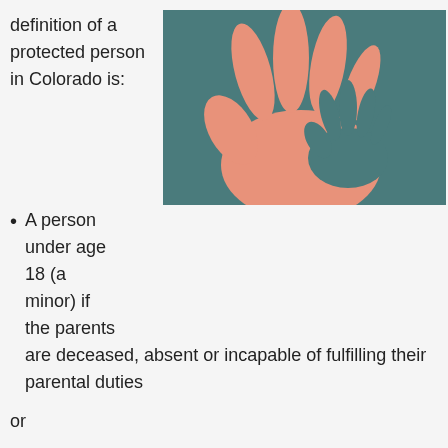definition of a protected person in Colorado is:
[Figure (illustration): Illustration of a large adult hand (salmon/orange color) on a teal/dark green background with a smaller child's hand overlaid in the center, representing protection of a minor.]
A person under age 18 (a minor) if the parents are deceased, absent or incapable of fulfilling their parental duties
or
A person who has become incapacitated due to physical or mental disabilities